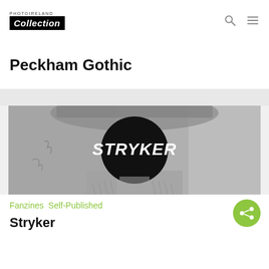PHOTOIRELAND Collection
Peckham Gothic
[Figure (photo): Black and white photograph of a man wearing a straw hat, face obscured by a large black circle with the word STRYKER in bold white italic text]
Fanzines  Self-Published
Stryker